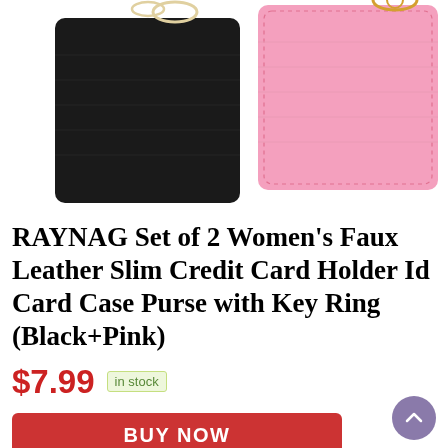[Figure (photo): Product photo showing two card holders: a black one on the left and a pink one on the right, each with a key ring attached at the top.]
RAYNAG Set of 2 Women's Faux Leather Slim Credit Card Holder Id Card Case Purse with Key Ring (Black+Pink)
$7.99 in stock
BUY NOW